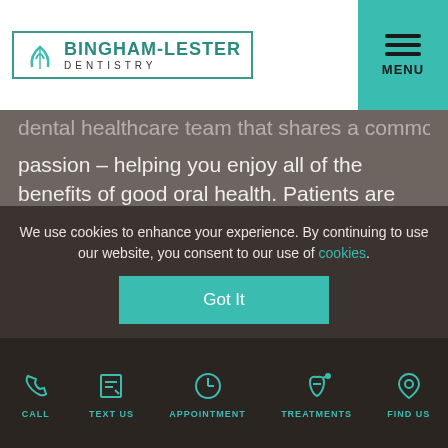[Figure (logo): Bingham-Lester Dentistry logo with teal leaf icon and bordered box]
dental healthcare team that shares a common passion – helping you enjoy all of the benefits of good oral health. Patients are treated with the warmth we'd extend to our own family, while receiving high-quality dental care in Gambrills from an experienced professional, using current technologies, materials, and techniques.

We are glad you stopped by the website for a virtual visit. Feel free to browse these pages for
We use cookies to enhance your experience. By continuing to use our website, you consent to our use of cookies.
Got It
CALL
TEXT US
APPOINTMENT
TREATMENTS
FIND US